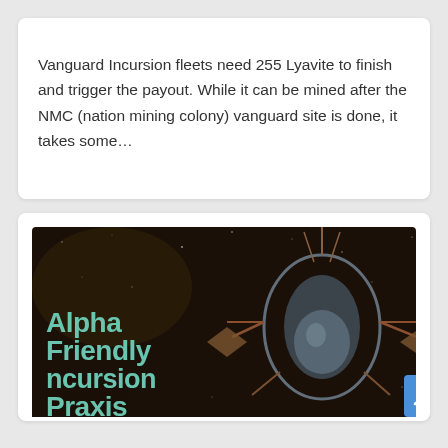Vanguard Incursion fleets need 255 Lyavite to finish and trigger the payout. While it can be mined after the NMC (nation mining colony) vanguard site is done, it takes some…
[Figure (illustration): Dark space background image featuring a sci-fi spacecraft/station with the text 'Alpha Friendly ncursion Praxis' overlaid in teal/mint colored bold font on the left side. A blue scroll-to-top button is visible in the bottom right corner.]